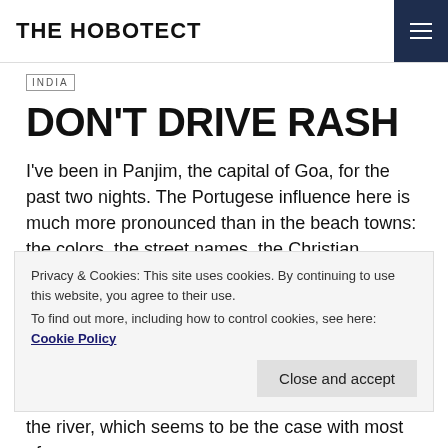THE HOBOTECT
INDIA
DON'T DRIVE RASH
I've been in Panjim, the capital of Goa, for the past two nights. The Portugese influence here is much more pronounced than in the beach towns: the colors, the street names, the Christian imagery everywhere. It's disorienting to be here less than two
Privacy & Cookies: This site uses cookies. By continuing to use this website, you agree to their use.
To find out more, including how to control cookies, see here: Cookie Policy
Close and accept
the river, which seems to be the case with most of